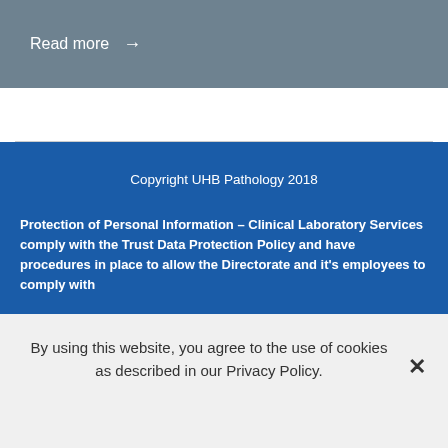Read more →
Copyright UHB Pathology 2018
Protection of Personal Information – Clinical Laboratory Services comply with the Trust Data Protection Policy and have procedures in place to allow the Directorate and it's employees to comply with
By using this website, you agree to the use of cookies as described in our Privacy Policy.